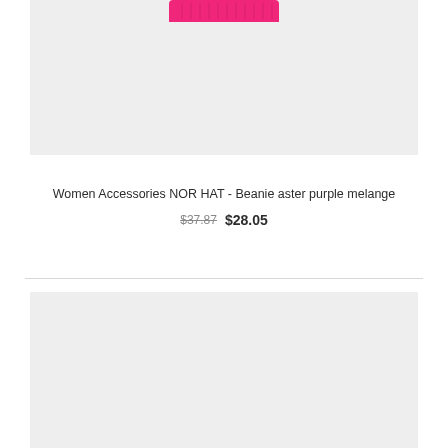[Figure (photo): Top portion of a pink/hot-pink ribbed beanie hat shown at the top of a light gray product image background]
Women Accessories NOR HAT - Beanie aster purple melange
$37.87  $28.05
[Figure (photo): Light gray product image placeholder for a second product item below the divider]